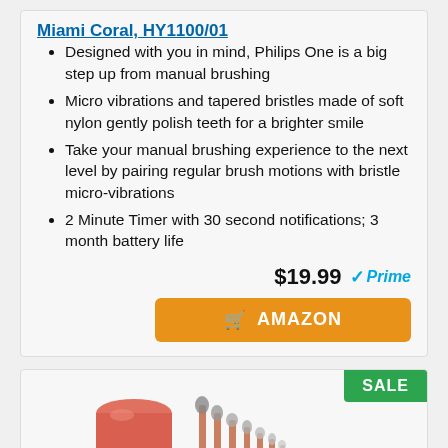Miami Coral, HY1100/01
Designed with you in mind, Philips One is a big step up from manual brushing
Micro vibrations and tapered bristles made of soft nylon gently polish teeth for a brighter smile
Take your manual brushing experience to the next level by pairing regular brush motions with bristle micro-vibrations
2 Minute Timer with 30 second notifications; 3 month battery life
$19.99 Prime
AMAZON
SALE
[Figure (photo): Makeup brush set with rose gold handles displayed with a cylindrical holder]